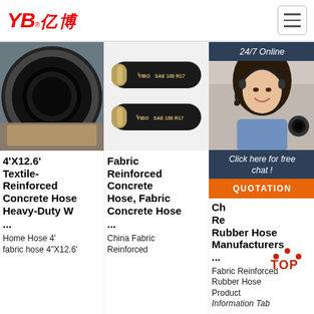[Figure (logo): YB亿博 company logo in red italic text with registered trademark symbol]
[Figure (photo): Close-up photo of a black concrete rubber hose end, showing spiral textile reinforcement]
4'X12.6' Textile-Reinforced Concrete Hose Heavy-Duty W ...
Home Hose 4' fabric hose 4"X12.6'
[Figure (photo): Two black fabric reinforced concrete hoses labeled YIBO SAE 100 R17 stacked on white background]
Fabric Reinforced Concrete Hose, Fabric Concrete Hose ...
China Fabric Reinforced
[Figure (photo): Customer service representative woman with headset smiling, with 24/7 Online banner and chat overlay]
Click here for free chat !
QUOTATION
China Fabric Reinforced Rubber Hose Manufacturers ...
Fabric Reinforced Rubber Hose Product Information Tab